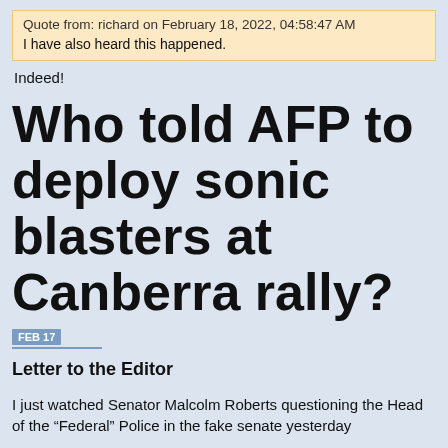Quote from: richard on February 18, 2022, 04:58:47 AM
I have also heard this happened.
Indeed!
Who told AFP to deploy sonic blasters at Canberra rally?
FEB 17
Letter to the Editor
I just watched Senator Malcolm Roberts questioning the Head of the “Federal” Police in the fake senate yesterday